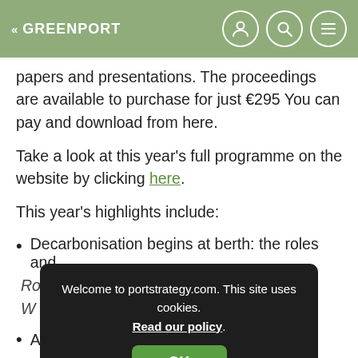<< GREENPORT
papers and presentations. The proceedings are available to purchase for just €295 You can pay and download from here.
Take a look at this year's full programme on the website by clicking here.
This year's highlights include:
Decarbonisation begins at berth: the roles and
[Figure (screenshot): Cookie consent overlay dialog with text 'Welcome to portstrategy.com. This site uses cookies. Read our policy.' and an OK button]
Ammonia as an alternative fuel